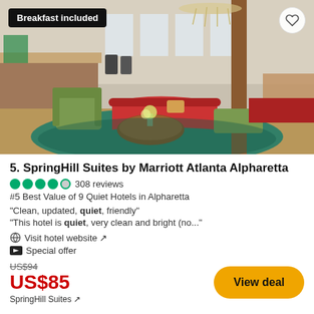[Figure (photo): Hotel lobby interior with seating area: green armchairs, red curved sofa, round wooden coffee table with flowers, decorative chandelier, breakfast counter in background. Badge says 'Breakfast included' top left, heart/favorite icon top right.]
5. SpringHill Suites by Marriott Atlanta Alpharetta
●●●●○ 308 reviews
#5 Best Value of 9 Quiet Hotels in Alpharetta
"Clean, updated, quiet, friendly"
"This hotel is quiet, very clean and bright (no..."
🌐 Visit hotel website ↗
🏷 Special offer
US$94
US$85
SpringHill Suites ↗
View deal